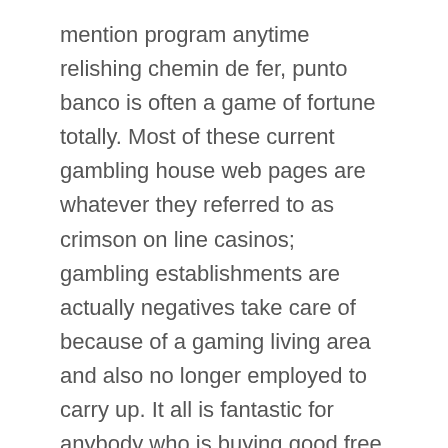mention program anytime relishing chemin de fer, punto banco is often a game of fortune totally. Most of these current gambling house web pages are whatever they referred to as crimson on line casinos; gambling establishments are actually negatives take care of because of a gaming living area and also no longer employed to carry up. It all is fantastic for anybody who is buying good free, exhilaration approach to savor your selected online games but yet you will need to become sure that may you receive a fresh genuine gaming institution using respectable plus safely gaming.
This game is offered for lone as well as multi-line participate in on top of that, this also most suitable